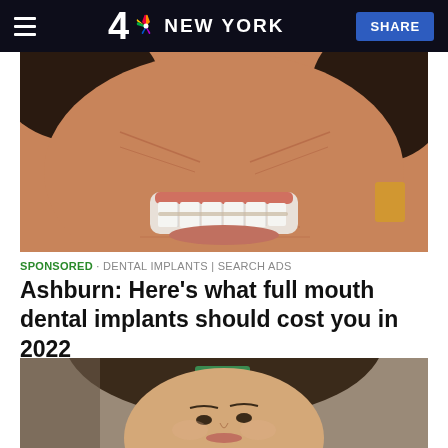4 NBC NEW YORK  SHARE
[Figure (photo): Close-up photo of an elderly person smiling showing white teeth, with wrinkled skin and dark hair]
SPONSORED · DENTAL IMPLANTS | SEARCH ADS
Ashburn: Here's what full mouth dental implants should cost you in 2022
[Figure (photo): Portrait photo of a young woman with brunette hair styled up with a green hair clip, looking slightly upward]